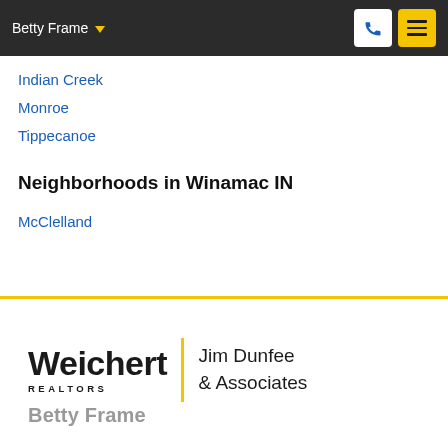Betty Frame
Indian Creek
Monroe
Tippecanoe
Neighborhoods in Winamac IN
McClelland
[Figure (logo): Weichert Realtors Jim Dunfee & Associates logo with yellow vertical bar divider]
Betty Frame